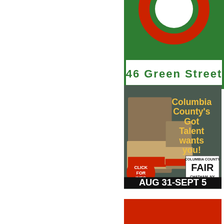[Figure (illustration): Advertisement banner showing '46 Green Street' on a green background with a red circular logo element at the top.]
[Figure (illustration): Columbia County Fair advertisement featuring two girls in tan and red dance costumes performing. Text reads: Columbia County's Got Talent wants you! Columbia County Fair, Chatham, NY, Aug 31-Sept 5. Red circle says Click For Info.]
[Figure (illustration): Partially visible advertisement at the bottom of the page with a red background.]